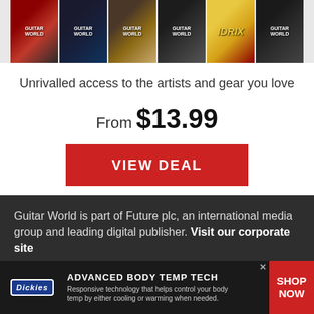[Figure (illustration): Row of Guitar World magazine covers showing guitars, amps, and Hendrix cover]
Unrivalled access to the artists and gear you love
From $13.99
VIEW DEAL
Guitar World is part of Future plc, an international media group and leading digital publisher. Visit our corporate site .
[Figure (illustration): Dickies advertisement banner: ADVANCED BODY TEMP TECH - Responsive technology that helps control your body temp by either cooling or warming when needed. SHOP NOW]